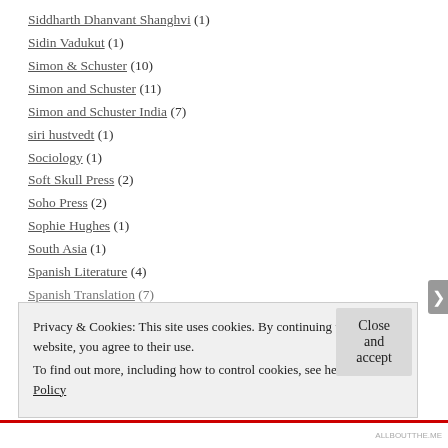Siddharth Dhanvant Shanghvi (1)
Sidin Vadukut (1)
Simon & Schuster (10)
Simon and Schuster (11)
Simon and Schuster India (7)
siri hustvedt (1)
Sociology (1)
Soft Skull Press (2)
Soho Press (2)
Sophie Hughes (1)
South Asia (1)
Spanish Literature (4)
Spanish Translation (7)
Privacy & Cookies: This site uses cookies. By continuing to use this website, you agree to their use. To find out more, including how to control cookies, see here: Cookie Policy
Close and accept